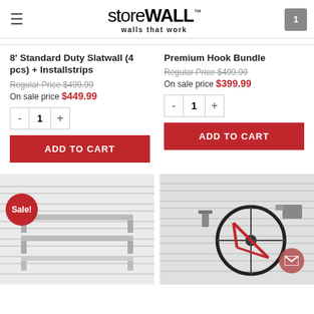storeWALL™ walls that work
8' Standard Duty Slatwall (4 pcs) + Installstrips
Regular Price $499.99
On sale price $449.99
Premium Hook Bundle
Regular Price $499.99
On sale price $399.99
[Figure (photo): Slatwall with shelves mounted, Sale badge visible]
[Figure (photo): Slatwall with bicycle and accessories mounted, mail icon visible]